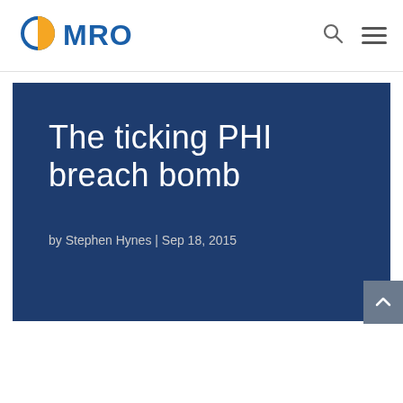MRO
[Figure (logo): MRO logo with blue/orange split circle icon and blue bold MRO text]
The ticking PHI breach bomb
by Stephen Hynes | Sep 18, 2015